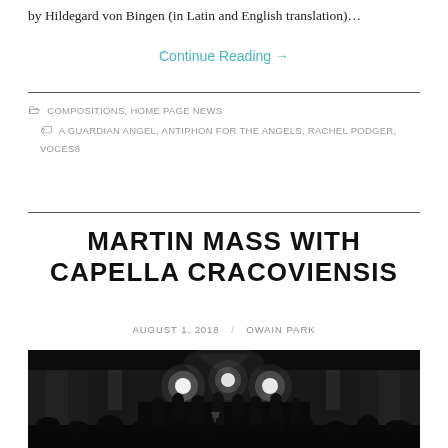by Hildegard von Bingen (in Latin and English translation)…
Continue Reading →
COMPOSITIONS, HOME PAGE NEWS
A GUARDIAN ANGEL, ANTIPHON FOR THE ANGELS, RACHEL PODGER, VOCES8
MARTIN MASS WITH CAPELLA CRACOVIENSIS
AUGUST 1, 2018 / OWAIN PARK
[Figure (photo): Concert hall interior showing a choir/ensemble performing on a dark stage with bright spotlights, audience silhouettes in the foreground, ornate columns in background]